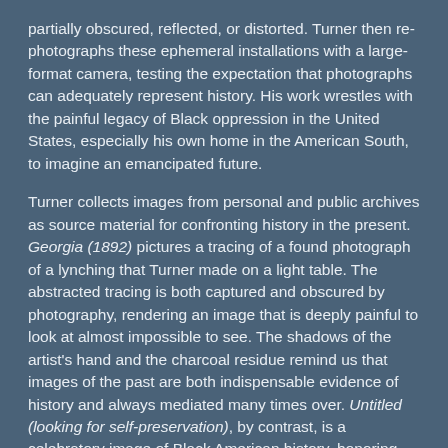partially obscured, reflected, or distorted. Turner then re-photographs these ephemeral installations with a large-format camera, testing the expectation that photographs can adequately represent history. His work wrestles with the painful legacy of Black oppression in the United States, especially his own home in the American South, to imagine an emancipated future.
Turner collects images from personal and public archives as source material for confronting history in the present. Georgia (1892) pictures a tracing of a found photograph of a lynching that Turner made on a light table. The abstracted tracing is both captured and obscured by photography, rendering an image that is deeply painful to look at almost impossible to see. The shadows of the artist's hand and the charcoal residue remind us that images of the past are both indispensable evidence of history and always mediated many times over. Untitled (looking for self-preservation), by contrast, is a celebratory image of Black American history, honoring the contributions of Black soldiers who fought for the Union Army during the American Civil War. The portrait of one soldier stands in for many abolitionists and soldiers who fought for Black American emancipation—a project that is both historical and ongoing.